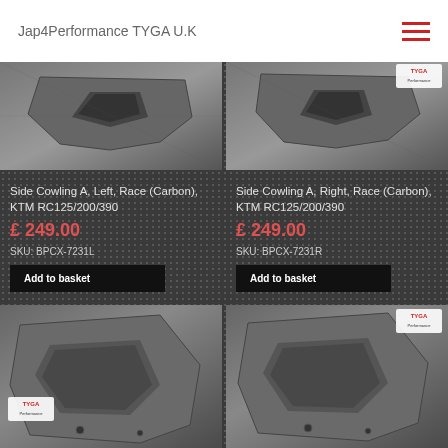Jap4Performance TYGA U.K
[Figure (photo): Side cowling carbon part, top view, left product photo on dark background]
Side Cowling A, Left, Race (Carbon), KTM RC125/200/390
£ 249.00
SKU: BPCX-7231L
Add to basket
[Figure (photo): Side cowling carbon part, top view, right product photo on dark background with TYGA badge]
Side Cowling A, Right, Race (Carbon), KTM RC125/200/390
£ 249.00
SKU: BPCX-7231R
Add to basket
[Figure (photo): Side cowling carbon part, angled view, left product photo with TYGA badge]
[Figure (photo): Side cowling carbon part, angled view, right product photo with TYGA badge]